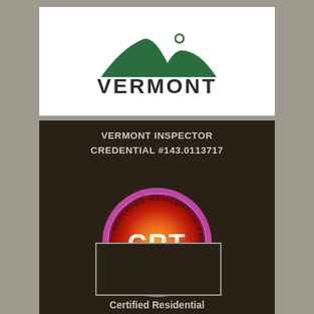[Figure (logo): Vermont state logo with mountain silhouette and hiker figure above text VERMONT in dark serif font]
VERMONT INSPECTOR
CREDENTIAL #143.0113717
[Figure (logo): CRT - Certified Residential Thermographer circular badge logo with orange/red/purple gradient and text around ring]
[Figure (photo): Empty photo/ID box with gray border]
Certified Residential
Thermographer